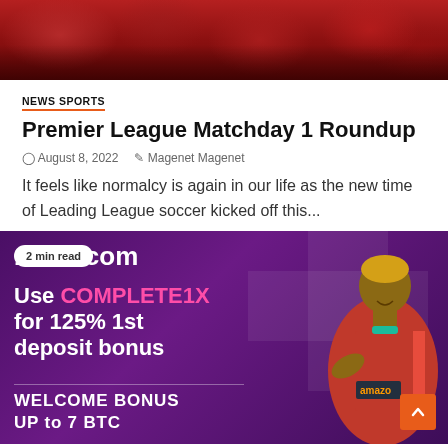[Figure (photo): Hero image showing soccer players/fans in red, cropped top portion visible]
NEWS SPORTS
Premier League Matchday 1 Roundup
August 8, 2022   Magenet Magenet
It feels like normalcy is again in our life as the new time of Leading League soccer kicked off this...
[Figure (photo): 1xBit.com advertisement banner on purple background with soccer player. Text: Use COMPLETE1X for 125% 1st deposit bonus. WELCOME BONUS UP to 7 BTC. 2 min read badge shown.]